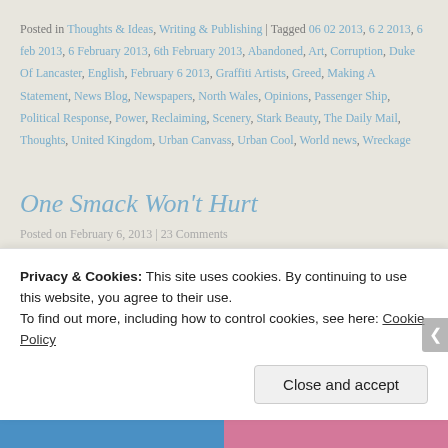Posted in Thoughts & Ideas, Writing & Publishing | Tagged 06 02 2013, 6 2 2013, 6 feb 2013, 6 February 2013, 6th February 2013, Abandoned, Art, Corruption, Duke Of Lancaster, English, February 6 2013, Graffiti Artists, Greed, Making A Statement, News Blog, Newspapers, North Wales, Opinions, Passenger Ship, Political Response, Power, Reclaiming, Scenery, Stark Beauty, The Daily Mail, Thoughts, United Kingdom, Urban Canvass, Urban Cool, World news, Wreckage
One Smack Won't Hurt
Posted on February 6, 2013 | 23 Comments
Privacy & Cookies: This site uses cookies. By continuing to use this website, you agree to their use. To find out more, including how to control cookies, see here: Cookie Policy